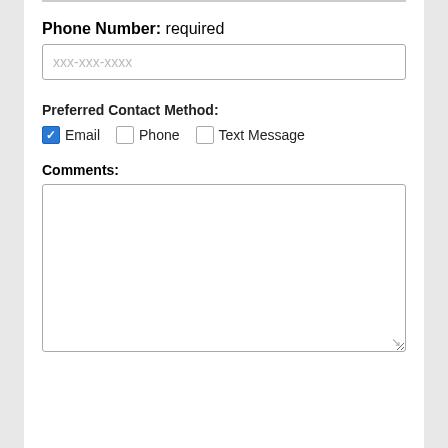Phone Number: required
xxx-xxx-xxxx
Preferred Contact Method:
Email  Phone  Text Message
Comments: